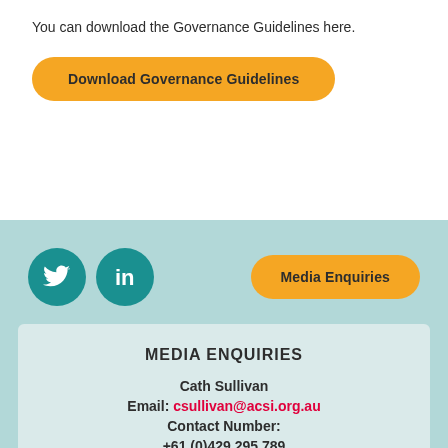You can download the Governance Guidelines here.
[Figure (other): Orange rounded button labeled 'Download Governance Guidelines']
[Figure (other): Teal/mint footer section with Twitter and LinkedIn social icons on the left and an orange 'Media Enquiries' button on the right]
MEDIA ENQUIRIES
Cath Sullivan
Email: csullivan@acsi.org.au
Contact Number:
+61 (0)429 295 789